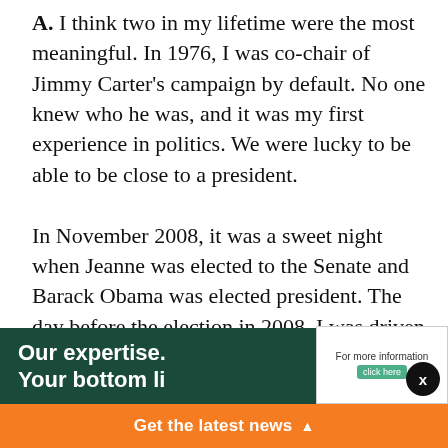A. I think two in my lifetime were the most meaningful. In 1976, I was co-chair of Jimmy Carter's campaign by default. No one knew who he was, and it was my first experience in politics. We were lucky to be able to be close to a president.

In November 2008, it was a sweet night when Jeanne was elected to the Senate and Barack Obama was elected president. The day before the election in 2008, I was driven I think 440 miles all around New Hampshire and gave 14 speeches to campaign workers at headquarters throughout the state. I laid it on the line for them and said days like this don't happen often in your lifetime. I remember one younger campaign worker who was overwhelmed... I told her tha...
[Figure (other): Advertisement banner with dark green background showing 'Our expertise. Your bottom li...' text, and an info box with 'For more information click here' button]
[Figure (other): Orange bar at the bottom with 'Get the latest news' text and upward arrow triangle]